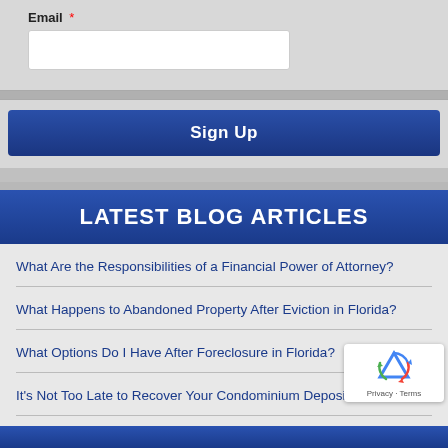Email *
LATEST BLOG ARTICLES
What Are the Responsibilities of a Financial Power of Attorney?
What Happens to Abandoned Property After Eviction in Florida?
What Options Do I Have After Foreclosure in Florida?
It's Not Too Late to Recover Your Condominium Deposit
Why a Loan Modification Could Be Right for You